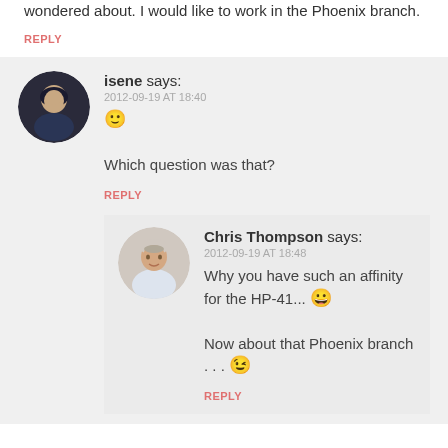wondered about. I would like to work in the Phoenix branch.
REPLY
isene says: 2012-09-19 AT 18:40
🙂 Which question was that?
REPLY
Chris Thompson says: 2012-09-19 AT 18:48
Why you have such an affinity for the HP-41... 😀

Now about that Phoenix branch . . . 😉
REPLY